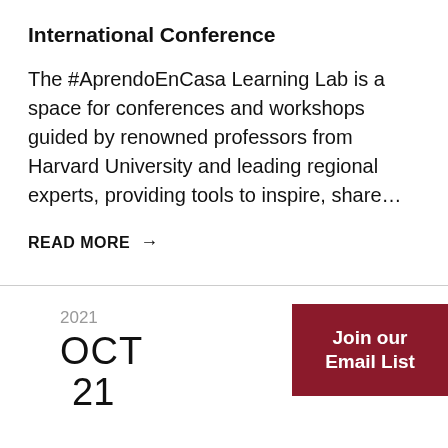International Conference
The #AprendoEnCasa Learning Lab is a space for conferences and workshops guided by renowned professors from Harvard University and leading regional experts, providing tools to inspire, share…
READ MORE →
2021
OCT
21
Join our Email List